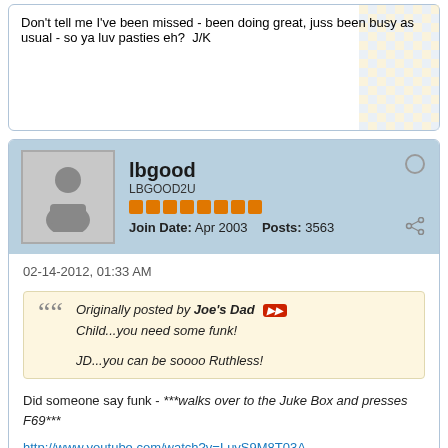Don't tell me I've been missed - been doing great, juss been busy as usual - so ya luv pasties eh?  J/K
lbgood
LBGOOD2U
Join Date: Apr 2003  Posts: 3563
02-14-2012, 01:33 AM
Originally posted by Joe's Dad
Child...you need some funk!
JD...you can be soooo Ruthless!
Did someone say funk - ***walks over to the Juke Box and presses F69***

http://www.youtube.com/watch?v=LuyS9M8T03A
Joe's Dad